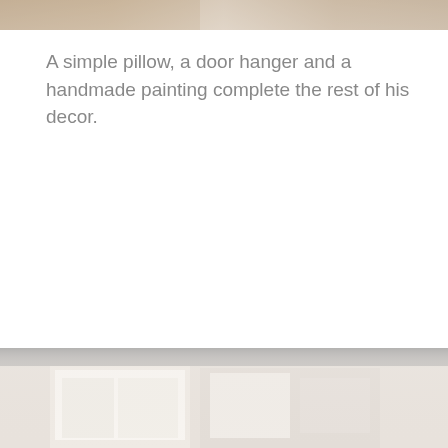[Figure (photo): Partial crop of a person or textile in warm beige and tan tones, cut off at top of page]
A simple pillow, a door hanger and a handmade painting complete the rest of his decor.
[Figure (photo): Partial photo of a light, white room interior scene with furniture, cut off at bottom of page]